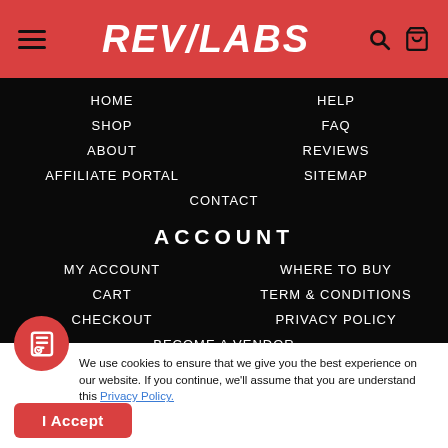[Figure (logo): REVLABS logo in white italic bold text on red header bar]
HOME
SHOP
ABOUT
AFFILIATE PORTAL
HELP
FAQ
REVIEWS
SITEMAP
CONTACT
ACCOUNT
MY ACCOUNT
CART
CHECKOUT
WHERE TO BUY
TERM & CONDITIONS
PRIVACY POLICY
BECOME A VENDOR
We use cookies to ensure that we give you the best experience on our website. If you continue, we'll assume that you are understand this Privacy Policy.